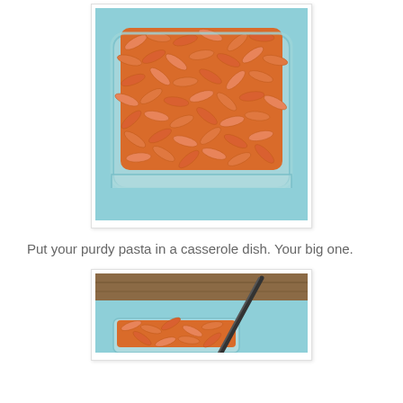[Figure (photo): A glass casserole dish filled with penne pasta in tomato sauce, photographed from above at an angle, set on a light blue surface.]
Put your purdy pasta in a casserole dish. Your big one.
[Figure (photo): A partial view of a casserole dish with pasta and a serving spoon or utensil, on a blue surface with a wooden background visible.]